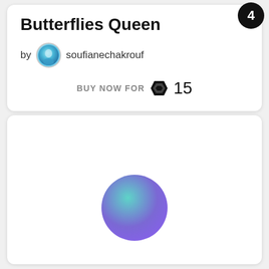Butterflies Queen
by soufianechakrouf
BUY NOW FOR 15
[Figure (illustration): White card with a gradient circle (teal to purple) centered in the lower portion, representing a loading or placeholder image state.]